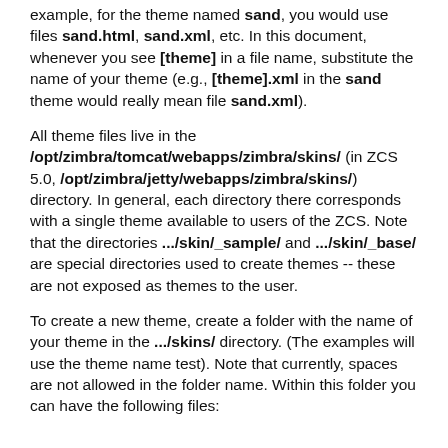example, for the theme named sand, you would use files sand.html, sand.xml, etc. In this document, whenever you see [theme] in a file name, substitute the name of your theme (e.g., [theme].xml in the sand theme would really mean file sand.xml).
All theme files live in the /opt/zimbra/tomcat/webapps/zimbra/skins/ (in ZCS 5.0, /opt/zimbra/jetty/webapps/zimbra/skins/) directory. In general, each directory there corresponds with a single theme available to users of the ZCS. Note that the directories .../skin/_sample/ and .../skin/_base/ are special directories used to create themes -- these are not exposed as themes to the user.
To create a new theme, create a folder with the name of your theme in the .../skins/ directory. (The examples will use the theme name test). Note that currently, spaces are not allowed in the folder name. Within this folder you can have the following files: